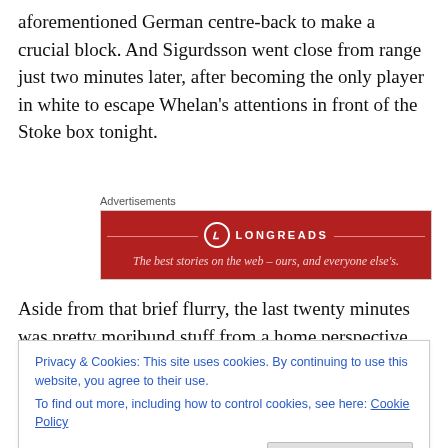aforementioned German centre-back to make a crucial block. And Sigurdsson went close from range just two minutes later, after becoming the only player in white to escape Whelan's attentions in front of the Stoke box tonight.
[Figure (other): Longreads advertisement banner — red background with Longreads logo and tagline 'The best stories on the web – ours, and everyone else's.']
Aside from that brief flurry, the last twenty minutes was pretty moribund stuff from a home perspective, with the
Privacy & Cookies: This site uses cookies. By continuing to use this website, you agree to their use.
To find out more, including how to control cookies, see here: Cookie Policy
In fact, it was Stoke who carried the greater attacking